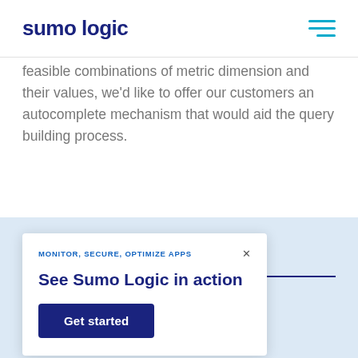sumo logic
feasible combinations of metric dimension and their values, we'd like to offer our customers an autocomplete mechanism that would aid the query building process.
Explore Read & Softw...
[Figure (infographic): Popup widget with label 'MONITOR, SECURE, OPTIMIZE APPS', title 'See Sumo Logic in action', and a 'Get started' button]
What is Software Deployment?